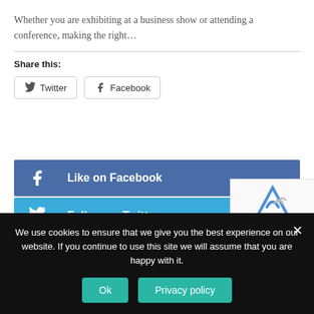Whether you are exhibiting at a business show or attending a conference, making the right...
Share this:
[Figure (screenshot): Twitter and Facebook share buttons]
[Figure (infographic): Like on Facebook (blue bar), Follow on Twitter (light blue bar), Follow on Instagram (pink/magenta bar) social media follow buttons]
[Figure (screenshot): reCAPTCHA widget overlay with Privacy and Terms links]
We use cookies to ensure that we give you the best experience on our website. If you continue to use this site we will assume that you are happy with it.
[Figure (screenshot): Ok and Privacy policy buttons on cookie consent banner]